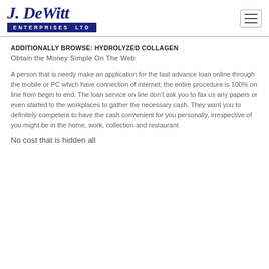[Figure (logo): J. DeWitt Enterprises Ltd logo — italic script in navy blue with a navy bar containing 'ENTERPRISES LTD' in white capital letters]
ADDITIONALLY BROWSE: HYDROLYZED COLLAGEN
Obtain the Money Simple On The Web
A person that is needy make an application for the fast advance loan online through the mobile or PC which have connection of internet; the entire procedure is 100% on line from begin to end. The loan service on line don’t ask you to fax us any papers or even started to the workplaces to gather the necessary cash. They want you to definitely competent to have the cash convenient for you personally, irrespective of you might be in the home, work, collection and restaurant.
No cost that is hidden all